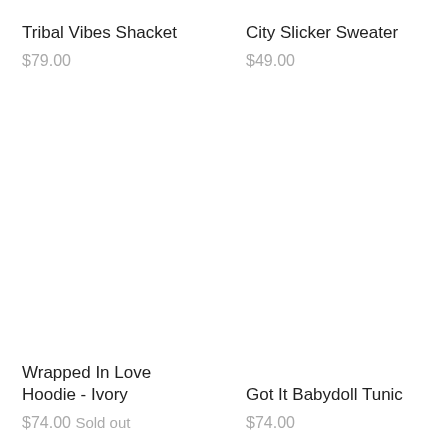Tribal Vibes Shacket
$79.00
City Slicker Sweater
$49.00
Wrapped In Love Hoodie - Ivory
$74.00 Sold out
Got It Babydoll Tunic
$74.00